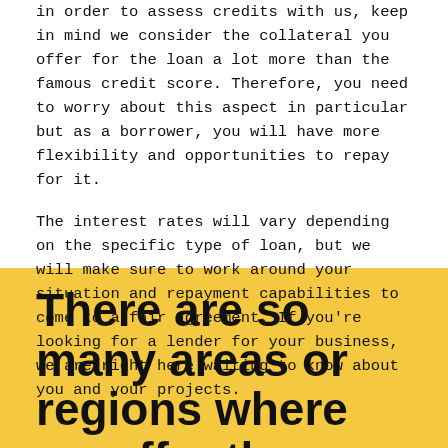in order to assess credit with us, keep in mind we consider the collateral you offer for the loan a lot more than the famous credit score. Therefore, you need to worry about this aspect in particular but as a borrower, you will have more flexibility and opportunities to repay for it.
The interest rates will vary depending on the specific type of loan, but we will make sure to work around your situation and repayment capabilities to come to a fair agreement. If you're looking for a lender for your business, we are right here waiting to know about you and your projects.
There are so many areas or regions where we offer these